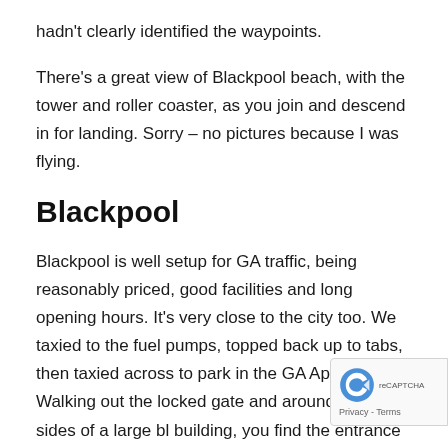hadn't clearly identified the waypoints.
There's a great view of Blackpool beach, with the tower and roller coaster, as you join and descend in for landing. Sorry – no pictures because I was flying.
Blackpool
Blackpool is well setup for GA traffic, being reasonably priced, good facilities and long opening hours. It's very close to the city too. We taxied to the fuel pumps, topped back up to tabs, then taxied across to park in the GA Apron. Walking out the locked gate and around three sides of a large bl building, you find the entrance door on the far s